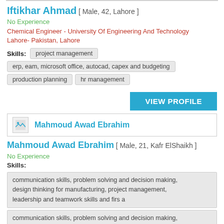Iftikhar Ahmad [ Male, 42, Lahore ]
No Experience
Chemical Engineer - University Of Engineering And Technology Lahore- Pakistan, Lahore
Skills: project management
erp, eam, microsoft office, autocad, capex and budgeting
production planning | hr management
[Figure (other): View Profile button]
[Figure (other): Profile header with image placeholder and name Mahmoud Awad Ebrahim]
Mahmoud Awad Ebrahim [ Male, 21, Kafr ElShaikh ]
No Experience
Skills:
communication skills, problem solving and decision making, design thinking for manufacturing, project management, leadership and teamwork skills and firs a
communication skills, problem solving and decision making, design thinking for manufacturing, project management, leadership and teamwork skills and firs a